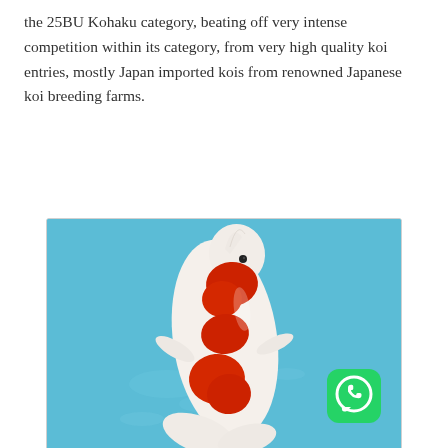the 25BU Kohaku category, beating off very intense competition within its category, from very high quality koi entries, mostly Japan imported kois from renowned Japanese koi breeding farms.
[Figure (photo): A Kohaku koi fish photographed from above against a bright blue background. The fish is white with red (hi) markings and has a WhatsApp icon overlaid in the bottom right corner.]